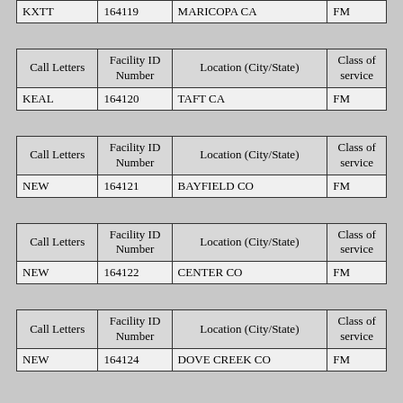| Call Letters | Facility ID Number | Location (City/State) | Class of service |
| --- | --- | --- | --- |
| KXTT | 164119 | MARICOPA CA | FM |
| Call Letters | Facility ID Number | Location (City/State) | Class of service |
| --- | --- | --- | --- |
| KEAL | 164120 | TAFT CA | FM |
| Call Letters | Facility ID Number | Location (City/State) | Class of service |
| --- | --- | --- | --- |
| NEW | 164121 | BAYFIELD CO | FM |
| Call Letters | Facility ID Number | Location (City/State) | Class of service |
| --- | --- | --- | --- |
| NEW | 164122 | CENTER CO | FM |
| Call Letters | Facility ID Number | Location (City/State) | Class of service |
| --- | --- | --- | --- |
| NEW | 164124 | DOVE CREEK CO | FM |